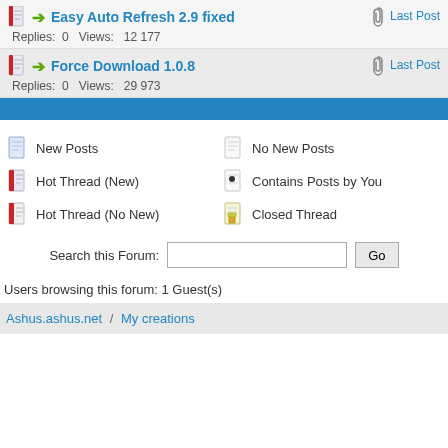Easy Auto Refresh 2.9 fixed — Replies: 0  Views: 12 177  Last Post
Force Download 1.0.8 — Replies: 0  Views: 29 973  Last Post
[Figure (infographic): Blue horizontal divider bar]
New Posts
Hot Thread (New)
Hot Thread (No New)
No New Posts
Contains Posts by You
Closed Thread
Search this Forum:
Users browsing this forum: 1 Guest(s)
Ashus.ashus.net  /  My creations